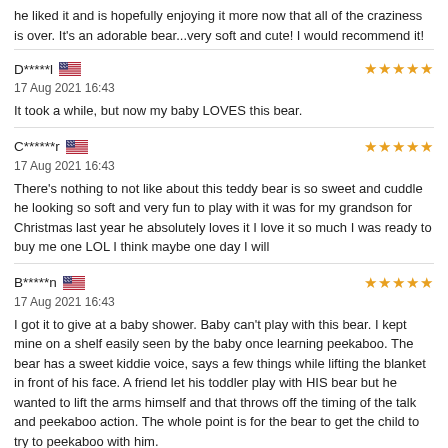he liked it and is hopefully enjoying it more now that all of the craziness is over. It's an adorable bear...very soft and cute! I would recommend it!
D*****l  17 Aug 2021 16:43  ★★★★★  It took a while, but now my baby LOVES this bear.
C******r  17 Aug 2021 16:43  ★★★★★  There's nothing to not like about this teddy bear is so sweet and cuddle he looking so soft and very fun to play with it was for my grandson for Christmas last year he absolutely loves it I love it so much I was ready to buy me one LOL I think maybe one day I will
B*****n  17 Aug 2021 16:43  ★★★★★  I got it to give at a baby shower. Baby can't play with this bear. I kept mine on a shelf easily seen by the baby once learning peekaboo. The bear has a sweet kiddie voice, says a few things while lifting the blanket in front of his face. A friend let his toddler play with HIS bear but he wanted to lift the arms himself and that throws off the timing of the talk and peekaboo action. The whole point is for the bear to get the child to try to peekaboo with him.